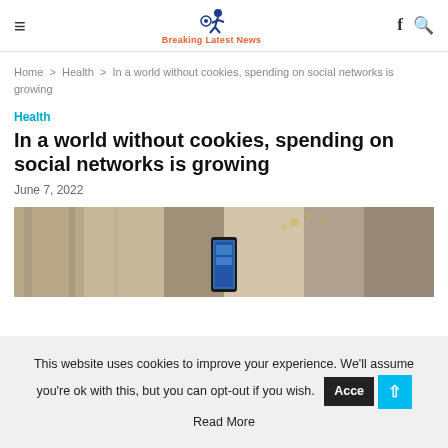Breaking Latest News
Home > Health > In a world without cookies, spending on social networks is growing
Health
In a world without cookies, spending on social networks is growing
June 7, 2022
[Figure (photo): Person holding a smartphone in an indoor setting with blurred background]
This website uses cookies to improve your experience. We'll assume you're ok with this, but you can opt-out if you wish. Accept Read More